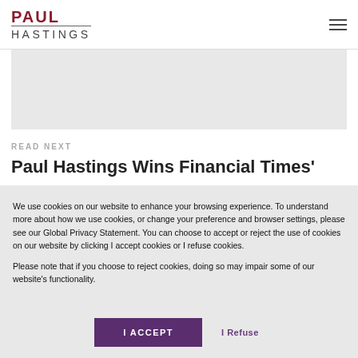PAUL HASTINGS
[Figure (photo): Gray image area placeholder]
READ NEXT
Paul Hastings Wins Financial Times'
We use cookies on our website to enhance your browsing experience. To understand more about how we use cookies, or change your preference and browser settings, please see our Global Privacy Statement. You can choose to accept or reject the use of cookies on our website by clicking I accept cookies or I refuse cookies.

Please note that if you choose to reject cookies, doing so may impair some of our website's functionality.